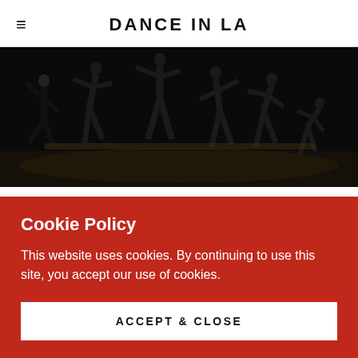DANCE IN LA
[Figure (photo): Dancers in black costumes performing on a dark stage, captured in motion]
"Bir Varmış / Bir Yokmuş"
Choreographer: Seda Aybay
"Once Upon a Time", a universal saying in many cultures
Cookie Policy
This website uses cookies. By continuing to use this site, you accept our use of cookies.
ACCEPT & CLOSE